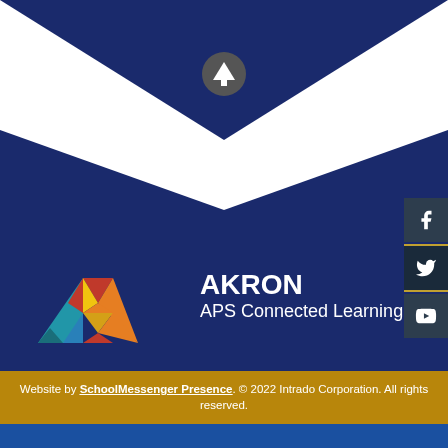[Figure (logo): Akron Public Schools logo with triangular colorful icon and text 'Akron Public Schools.']
AKRON
APS Connected Learning
10 N. Main Street, Akron, OH 44308
330.761.1661
330.761.3225
Website by SchoolMessenger Presence. © 2022 Intrado Corporation. All rights reserved.